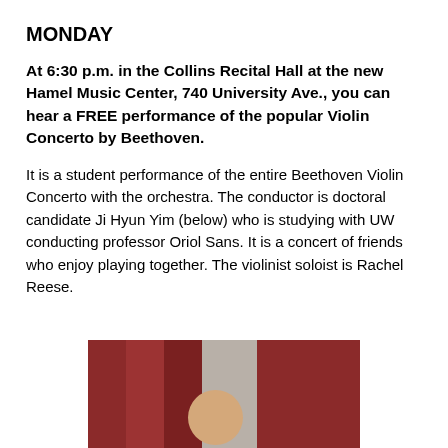MONDAY
At 6:30 p.m. in the Collins Recital Hall at the new Hamel Music Center, 740 University Ave., you can hear a FREE performance of the popular Violin Concerto by Beethoven.
It is a student performance of the entire Beethoven Violin Concerto with the orchestra. The conductor is doctoral candidate Ji Hyun Yim (below) who is studying with UW conducting professor Oriol Sans. It is a concert of friends who enjoy playing together. The violinist soloist is Rachel Reese.
[Figure (photo): Photo of Ji Hyun Yim, showing a person in front of what appears to be red/dark pillars or columns with a grey background]